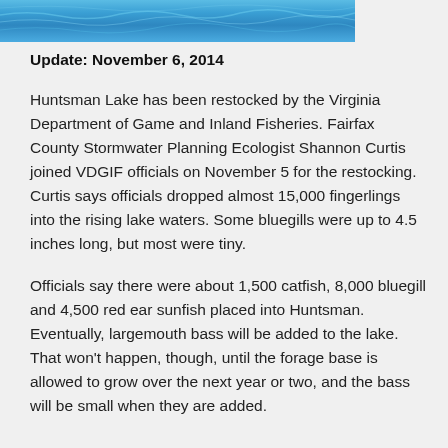[Figure (photo): Blue water surface photo banner at top of page]
Update: November 6, 2014
Huntsman Lake has been restocked by the Virginia Department of Game and Inland Fisheries. Fairfax County Stormwater Planning Ecologist Shannon Curtis joined VDGIF officials on November 5 for the restocking. Curtis says officials dropped almost 15,000 fingerlings into the rising lake waters. Some bluegills were up to 4.5 inches long, but most were tiny.
Officials say there were about 1,500 catfish, 8,000 bluegill and 4,500 red ear sunfish placed into Huntsman. Eventually, largemouth bass will be added to the lake. That won't happen, though, until the forage base is allowed to grow over the next year or two, and the bass will be small when they are added.